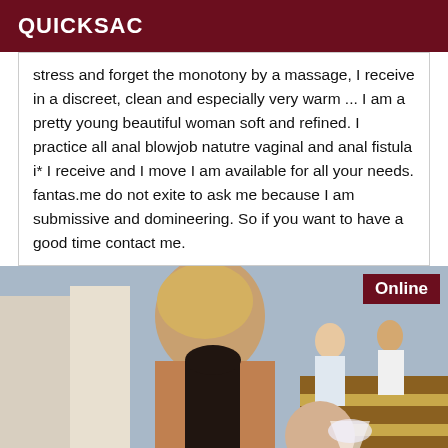QUICKSAC
stress and forget the monotony by a massage, I receive in a discreet, clean and especially very warm ... I am a pretty young beautiful woman soft and refined. I practice all anal blowjob natutre vaginal and anal fistula i* I receive and I move I am available for all your needs. fantas.me do not exite to ask me because I am submissive and domineering. So if you want to have a good time contact me.
[Figure (photo): Woman at a pool/beach area in a dark swimsuit, holding a drink, with other people in the background. An 'Online' badge is shown in the top-right corner.]